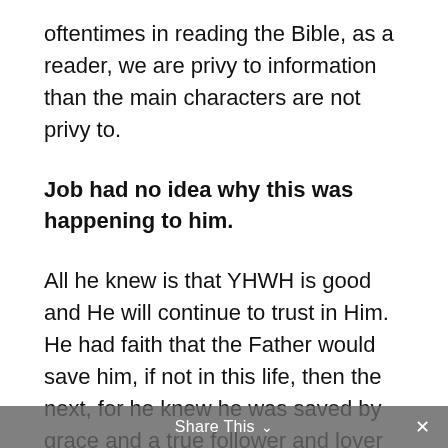oftentimes in reading the Bible, as a reader, we are privy to information than the main characters are not privy to.
Job had no idea why this was happening to him.
All he knew is that YHWH is good and He will continue to trust in Him. He had faith that the Father would save him, if not in this life, then the next, for he knew he was saved by grace and a true follower and lover
Share This ∨  ×